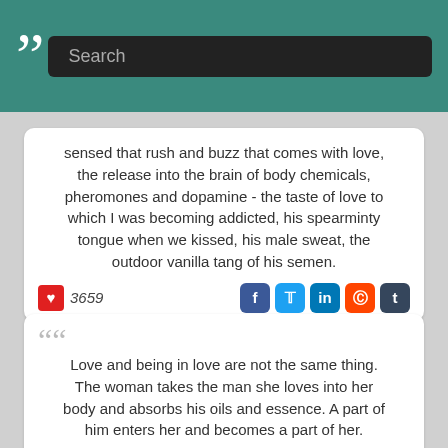Search
sensed that rush and buzz that comes with love, the release into the brain of body chemicals, pheromones and dopamine - the taste of love to which I was becoming addicted, his spearminty tongue when we kissed, his male sweat, the outdoor vanilla tang of his semen.
3659
Love and being in love are not the same thing. The woman takes the man she loves into her body and absorbs his oils and essence. A part of him enters her and becomes a part of her.
4781
Is this love? The light looks different. Actually the shade looks different. I feel different. Everything is just so different but it has only been a day since